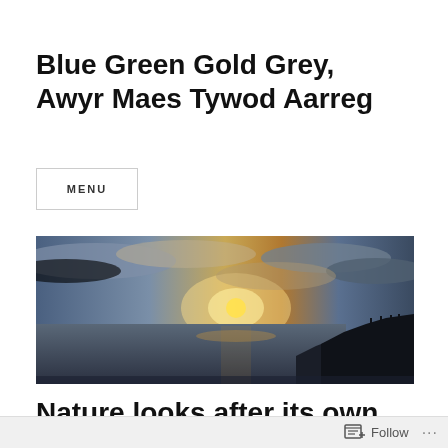Blue Green Gold Grey, Awyr Maes Tywod Aarreg
MENU
[Figure (photo): Panoramic sunset or sunrise photograph over water with dramatic cloudy sky and silhouette of a hillside with people on the right side]
Nature looks after its own
Follow ...